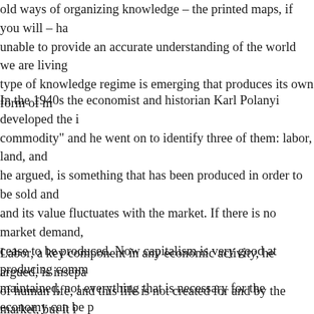old ways of organizing knowledge – the printed maps, if you will – ha unable to provide an accurate understanding of the world we are living type of knowledge regime is emerging that produces its own form of m
In the 1940s the economist and historian Karl Polanyi developed the i commodity" and he went on to identify three of them: labor, land, and he argued, is something that has been produced in order to be sold and and its value fluctuates with the market. If there is no market demand, cease to be produced. Now capitalism is very good at producing comm maintained, not everything that is necessary for the economy can be p The economy is always embedded in the larger social and natural envi resources produced outside of it. In other words, the economy cannot p conditions.
Labor, a key component in any economic activity, he argued, is insepa of human life, and this life is not created for and by the market, but it i fullness of human life itself. To treat human life solely as a commodity labor as the only relevant dimension, is cut off human life from all oth